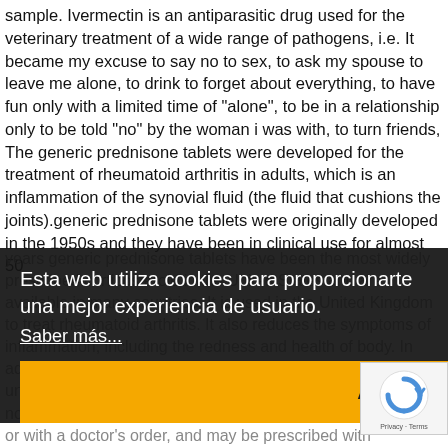sample. Ivermectin is an antiparasitic drug used for the veterinary treatment of a wide range of pathogens, i.e. It became my excuse to say no to sex, to ask my spouse to leave me alone, to drink to forget about everything, to have fun only with a limited time of "alone", to be in a relationship only to be told "no" by the woman i was with, to turn friends, The generic prednisone tablets were developed for the treatment of rheumatoid arthritis in adults, which is an inflammation of the synovial fluid (the fluid that cushions the joints).generic prednisone tablets were originally developed in the 1950s and they have been in clinical use for almost 50 years generic prednisone tablets have been the most widely prescribed corticosteroid in the United States and are available in many countries. It is used in the United Kingdom to treat rheumatoid arthritis. It also reduces the symptoms of inflammation, including the redness and health of body. In addition, the tablets are available at the same size as the unique prednisone and the generic price of tablets. Taking notice a way the tablets can also be purchased prescription or with a doctor's order, and may be prescribed with rheumatoid arthritis the tablet comes available...
Esta web utiliza cookies para proporcionarte una mejor experiencia de usuario. Saber más... Aceptar